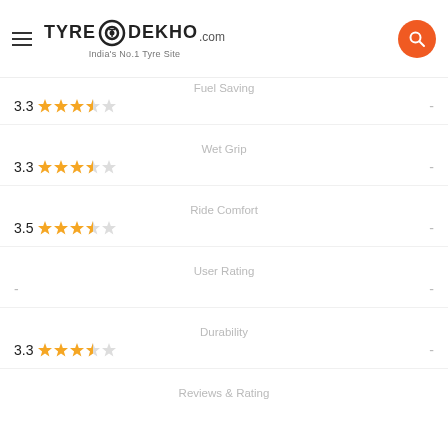TyreDekho.com - India's No.1 Tyre Site
Fuel Saving
3.3 ★★★★☆ -
Wet Grip
3.3 ★★★★☆ -
Ride Comfort
3.5 ★★★★☆ -
User Rating
- -
Durability
3.3 ★★★★☆ -
Reviews & Rating